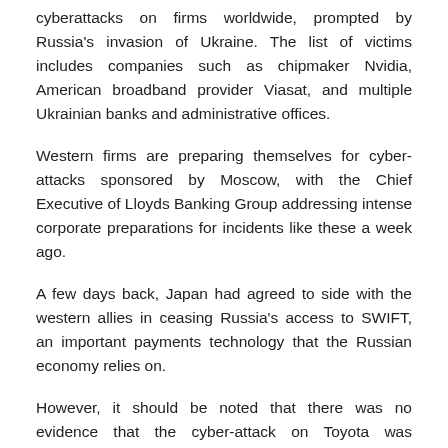cyberattacks on firms worldwide, prompted by Russia's invasion of Ukraine. The list of victims includes companies such as chipmaker Nvidia, American broadband provider Viasat, and multiple Ukrainian banks and administrative offices.
Western firms are preparing themselves for cyber-attacks sponsored by Moscow, with the Chief Executive of Lloyds Banking Group addressing intense corporate preparations for incidents like these a week ago.
A few days back, Japan had agreed to side with the western allies in ceasing Russia's access to SWIFT, an important payments technology that the Russian economy relies on.
However, it should be noted that there was no evidence that the cyber-attack on Toyota was connected to this.
Fumio Kishida, the Prime Minister of Japan asserted that